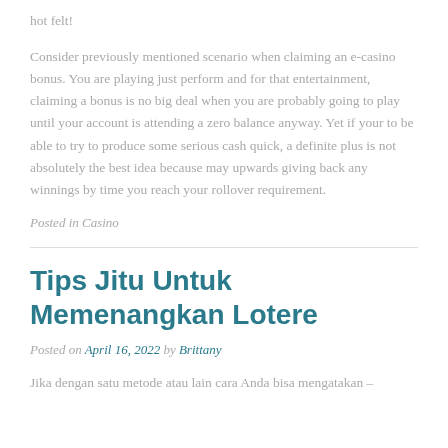hot felt!
Consider previously mentioned scenario when claiming an e-casino bonus. You are playing just perform and for that entertainment, claiming a bonus is no big deal when you are probably going to play until your account is attending a zero balance anyway. Yet if your to be able to try to produce some serious cash quick, a definite plus is not absolutely the best idea because may upwards giving back any winnings by time you reach your rollover requirement.
Posted in Casino
Tips Jitu Untuk Memenangkan Lotere
Posted on April 16, 2022 by Brittany
Jika dengan satu metode atau lain cara Anda bisa mengatakan –